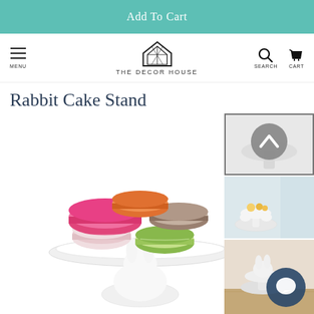Add To Cart
[Figure (screenshot): Navigation bar with hamburger menu (MENU), The Decor House logo (house icon), brand name THE DECOR HOUSE, search icon, and cart icon]
Rabbit Cake Stand
[Figure (photo): Main product image: colorful French macarons (pink, orange, green, taupe) stacked on a white ceramic rabbit-shaped cake stand against a white background]
[Figure (photo): Thumbnail 1: grey circle with up arrow chevron overlay on cake stand image]
[Figure (photo): Thumbnail 2: White rabbit cake stand with small pastries on top, light blue background]
[Figure (photo): Thumbnail 3: Rabbit cake stand on wooden surface with dark blue circular chat/comment icon overlay]